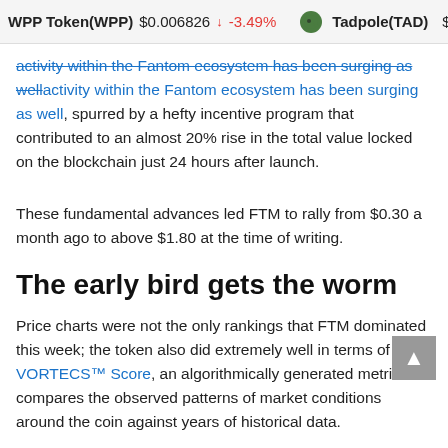WPP Token(WPP)  $0.006826  ↓ -3.49%   Tadpole(TAD)
activity within the Fantom ecosystem has been surging as well, spurred by a hefty incentive program that contributed to an almost 20% rise in the total value locked on the blockchain just 24 hours after launch.
These fundamental advances led FTM to rally from $0.30 a month ago to above $1.80 at the time of writing.
The early bird gets the worm
Price charts were not the only rankings that FTM dominated this week; the token also did extremely well in terms of its VORTECS™ Score, an algorithmically generated metric that compares the observed patterns of market conditions around the coin against years of historical data.
This quantitative-style metric is able to assess whether an